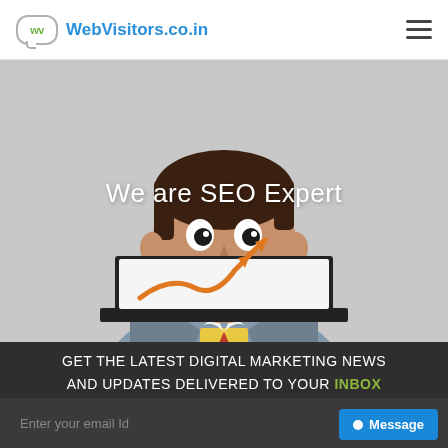WebVisitors.co.in
[Figure (illustration): Cartoon illustration of a man in a grey suit sitting behind a laptop showing an upward trending graph/arrow icon. Background is light grey. Text overlay reads 'We are SEO Expert'.]
We are SEO Expert
GET THE LATEST DIGITAL MARKETING NEWS AND UPDATES DELIVERED TO YOUR INBOX GET THE LATEST DIGITAL MARKETING UPDATE
Enter your email Id